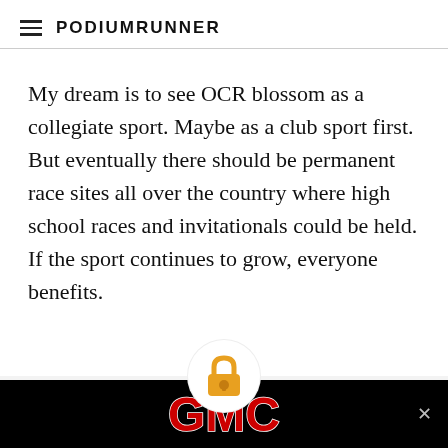PodiumRunner
My dream is to see OCR blossom as a collegiate sport. Maybe as a club sport first. But eventually there should be permanent race sites all over the country where high school races and invitationals could be held. If the sport continues to grow, everyone benefits.
MEMBERSHIP SPOTLIGHT
Run College: 6 Weeks to a Faster You Hopping and Plyometric Exercises
[Figure (infographic): GMC advertisement banner with red GMC logo text on black background]